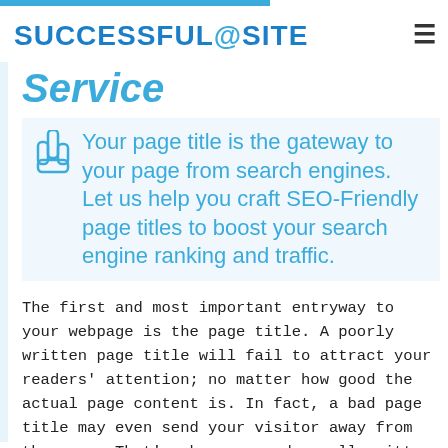SUCCESSFUL@SITE
Service
Your page title is the gateway to your page from search engines. Let us help you craft SEO-Friendly page titles to boost your search engine ranking and traffic.
The first and most important entryway to your webpage is the page title. A poorly written page title will fail to attract your readers' attention; no matter how good the actual page content is. In fact, a bad page title may even send your visitor away from the page. That's why you need a well-written page title to captivate your target readers. With us at your service, this is exactly what you'll